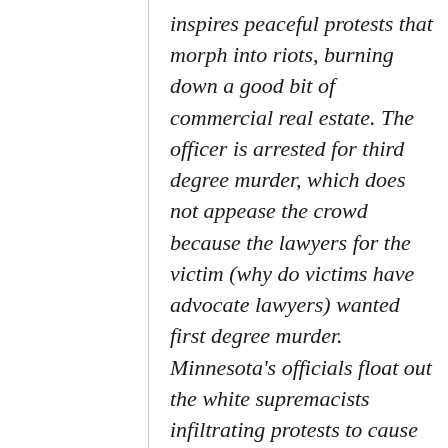inspires peaceful protests that morph into riots, burning down a good bit of commercial real estate. The officer is arrested for third degree murder, which does not appease the crowd because the lawyers for the victim (why do victims have advocate lawyers) wanted first degree murder. Minnesota's officials float out the white supremacists infiltrating protests to cause chaos, which was easily shot down, but showed that even the left establishment is worried about blowback. This mushrooms into copycat solidarity protests in other cities that turn into riots. The riots burn down and